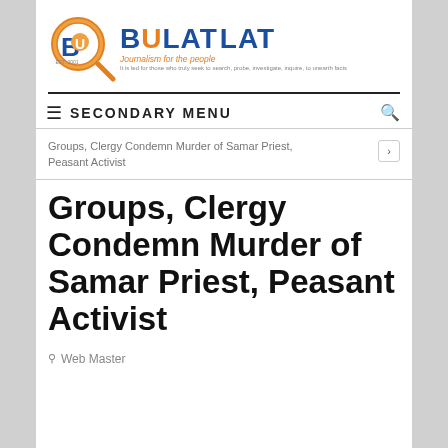[Figure (logo): Bulatlat logo with magnifying glass icon, text BULATLAT in blue and orange, tagline 'Journalism for the people']
SECONDARY MENU
Groups, Clergy Condemn Murder of Samar Priest, Peasant Activist
Groups, Clergy Condemn Murder of Samar Priest, Peasant Activist
Web Master